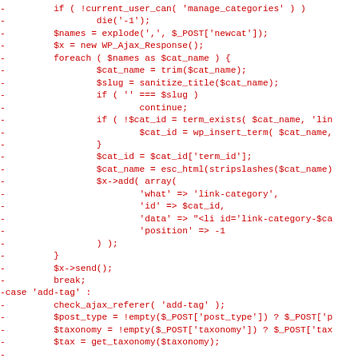[Figure (screenshot): Code diff snippet showing PHP code in red monospace font on white background. Lines show WordPress AJAX handler code for adding categories and tags, with minus signs indicating removed/changed lines.]